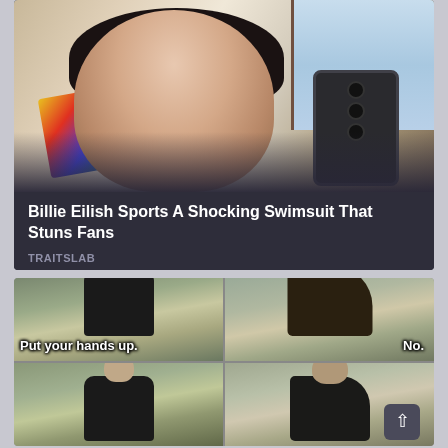[Figure (photo): A young woman with dark hair and bangs takes a mirror selfie with an iPhone. Colorful clothing or artwork visible in background. Dark semi-transparent overlay at bottom of image.]
Billie Eilish Sports A Shocking Swimsuit That Stuns Fans
TRAITSLAB
[Figure (photo): A four-panel meme using movie stills. Top-left panel: man with Russian flag emoji, caption 'Put your hands up.' Top-right panel: man with Ukrainian flag emoji, caption 'No.' Bottom-left panel: man with Russian flag emoji. Bottom-right panel: man with Ukrainian flag emoji, with a scroll-to-top button overlay in the bottom right corner.]